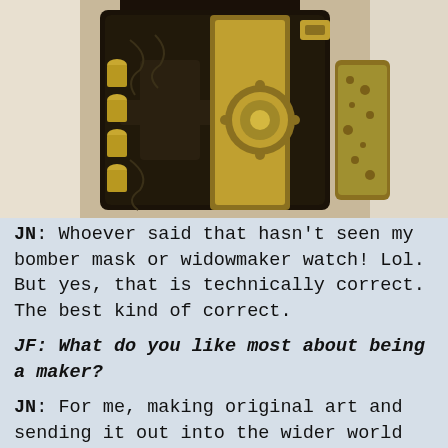[Figure (photo): Close-up photo of a steampunk-style decorative gauntlet or wrist cuff made of dark leather with intricate engravings, gold bullet casings on the left side, brass gears and mechanical components, and a textured golden piece on the right. The item is being worn or held by a person in white clothing.]
JN: Whoever said that hasn't seen my bomber mask or widowmaker watch! Lol. But yes, that is technically correct. The best kind of correct.
JF: What do you like most about being a maker?
JN: For me, making original art and sending it out into the wider world is the best part. I often wonder where my stuff will end up, if any of it will still